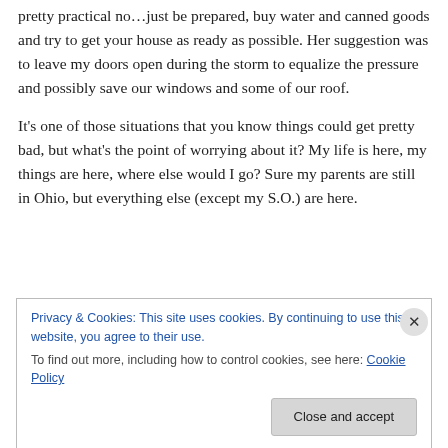pretty practical no…just be prepared, buy water and canned goods and try to get your house as ready as possible. Her suggestion was to leave my doors open during the storm to equalize the pressure and possibly save our windows and some of our roof.
It’s one of those situations that you know things could get pretty bad, but what’s the point of worrying about it? My life is here, my things are here, where else would I go? Sure my parents are still in Ohio, but everything else (except my S.O.) are here.
Privacy & Cookies: This site uses cookies. By continuing to use this website, you agree to their use.
To find out more, including how to control cookies, see here: Cookie Policy
Close and accept